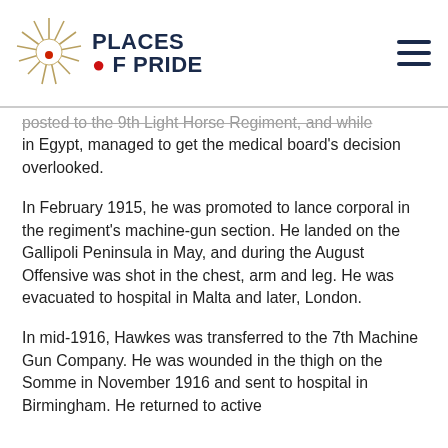Places of Pride
posted to the 9th Light Horse Regiment, and while in Egypt, managed to get the medical board's decision overlooked.
In February 1915, he was promoted to lance corporal in the regiment's machine-gun section. He landed on the Gallipoli Peninsula in May, and during the August Offensive was shot in the chest, arm and leg. He was evacuated to hospital in Malta and later, London.
In mid-1916, Hawkes was transferred to the 7th Machine Gun Company. He was wounded in the thigh on the Somme in November 1916 and sent to hospital in Birmingham. He returned to active